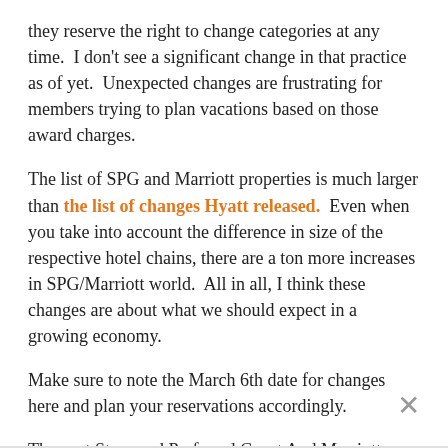they reserve the right to change categories at any time.  I don't see a significant change in that practice as of yet.  Unexpected changes are frustrating for members trying to plan vacations based on those award charges.
The list of SPG and Marriott properties is much larger than the list of changes Hyatt released.  Even when you take into account the difference in size of the respective hotel chains, there are a ton more increases in SPG/Marriott world.  All in all, I think these changes are about what we should expect in a growing economy.
Make sure to note the March 6th date for changes here and plan your reservations accordingly.
The post Starwood Preferred Guest And Marriott Release Their Award Category Changes For 2018 was published first on Plaza In Motion